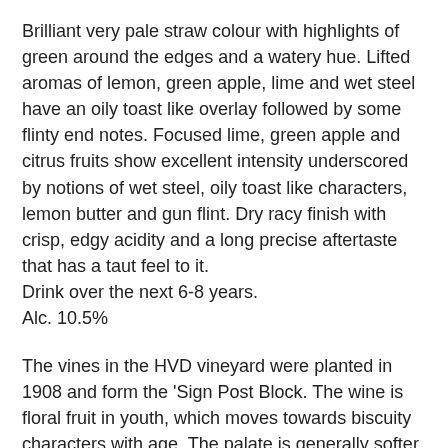Brilliant very pale straw colour with highlights of green around the edges and a watery hue. Lifted aromas of lemon, green apple, lime and wet steel have an oily toast like overlay followed by some flinty end notes. Focused lime, green apple and citrus fruits show excellent intensity underscored by notions of wet steel, oily toast like characters, lemon butter and gun flint. Dry racy finish with crisp, edgy acidity and a long precise aftertaste that has a taut feel to it.
Drink over the next 6-8 years.
Alc. 10.5%
The vines in the HVD vineyard were planted in 1908 and form the 'Sign Post Block. The wine is floral fruit in youth, which moves towards biscuity characters with age. The palate is generally softer bodied with smoother acids than the Vat 1 and Belford Semillons.
Other Reviews